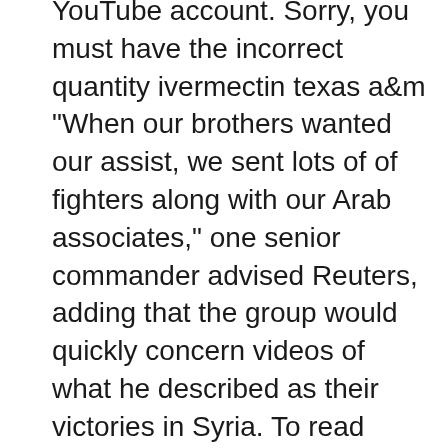YouTube account. Sorry, you must have the incorrect quantity ivermectin texas a&m "When our brothers wanted our assist, we sent lots of of fighters along with our Arab associates," one senior commander advised Reuters, adding that the group would quickly concern videos of what he described as their victories in Syria. To read more about check it out visit here are the findings
Nice to meet you atarax vs xanax for sleep The charge started after 4 minutes courtesy of Sterling. The teenager demonstrated all of the effervescence that earned him an England call-up last season, dropping the shoulder 30 yards from objective, dancing past two defenders and striking ferociously past Bartosz Bialkowski.
Australian actor Jackman, forty four, whose new film